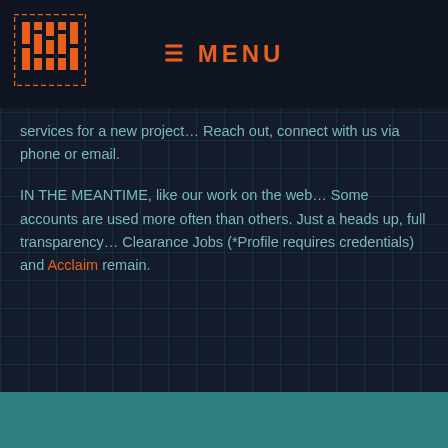[Figure (logo): Orange pixelated/circuit-board style logo icon in top left corner]
≡ MENU
services for a new project… Reach out, connect with us via phone or email.
IN THE MEANTIME, like our work on the web… Some accounts are used more often than others. Just a heads up, full transparency… Clearance Jobs (*Profile requires credentials) and Acclaim remain.